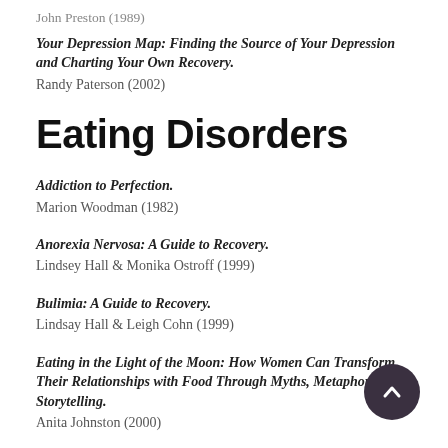John Preston (1989)
Your Depression Map: Finding the Source of Your Depression and Charting Your Own Recovery.
Randy Paterson (2002)
Eating Disorders
Addiction to Perfection.
Marion Woodman (1982)
Anorexia Nervosa: A Guide to Recovery.
Lindsey Hall & Monika Ostroff (1999)
Bulimia: A Guide to Recovery.
Lindsay Hall & Leigh Cohn (1999)
Eating in the Light of the Moon: How Women Can Transform Their Relationships with Food Through Myths, Metaphors, & Storytelling.
Anita Johnston (2000)
Gaining: The Truth After Eating Disorders.